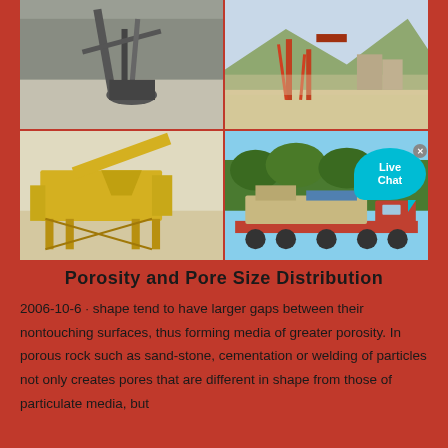[Figure (photo): Four-panel photo grid showing mining and crushing equipment: top-left shows a black-and-white quarry with conveyor equipment, top-right shows a colorful industrial quarry site with mountains in background, bottom-left shows yellow mobile crushing/screening equipment, bottom-right shows a large mobile crusher on a flatbed truck with a Live Chat bubble overlay]
Porosity and Pore Size Distribution
2006-10-6 · shape tend to have larger gaps between their nontouching surfaces, thus forming media of greater porosity. In porous rock such as sand-stone, cementation or welding of particles not only creates pores that are different in shape from those of particulate media, but